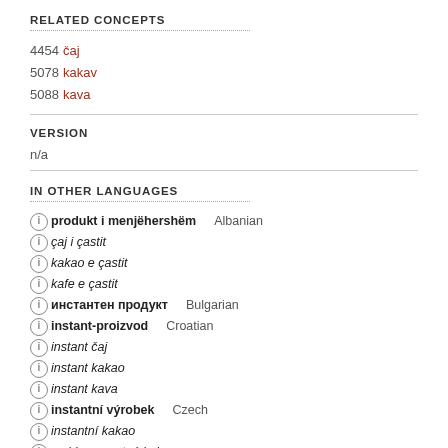RELATED CONCEPTS
4454 čaj
5078 kakav
5088 kava
VERSION
n/a
IN OTHER LANGUAGES
produkt i menjëhershëm — Albanian
çaj i çastit
kakao e çastit
kafe e çastit
инстантен продукт — Bulgarian
instant-proizvod — Croatian
instant čaj
instant kakao
instant kava
instantní výrobek — Czech
instantní kakao
rychlorozpustné kakao
rychlorozpustný čaj